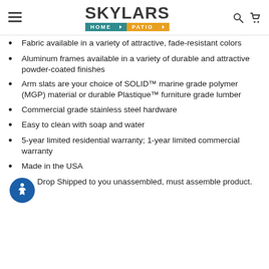SKYLARS HOME PATIO
Fabric available in a variety of attractive, fade-resistant colors
Aluminum frames available in a variety of durable and attractive powder-coated finishes
Arm slats are your choice of SOLID™ marine grade polymer (MGP) material or durable Plastique™ furniture grade lumber
Commercial grade stainless steel hardware
Easy to clean with soap and water
5-year limited residential warranty; 1-year limited commercial warranty
Made in the USA
Drop Shipped to you unassembled, must assemble product.